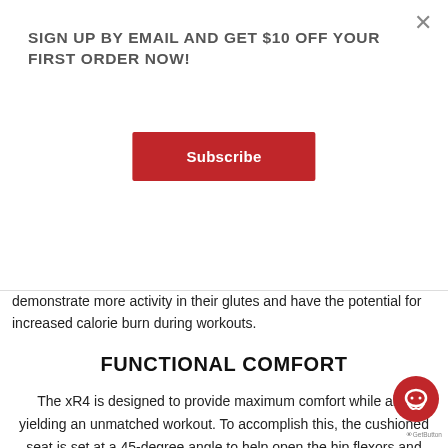SIGN UP BY EMAIL AND GET $10 OFF YOUR FIRST ORDER NOW!
Subscribe
demonstrate more activity in their glutes and have the potential for increased calorie burn during workouts.
FUNCTIONAL COMFORT
The xR4 is designed to provide maximum comfort while also yielding an unmatched workout. To accomplish this, the cushioned seat is set at a 45-degree angle to help open the hip flexors and torso for more comfort and less stress on the low back.